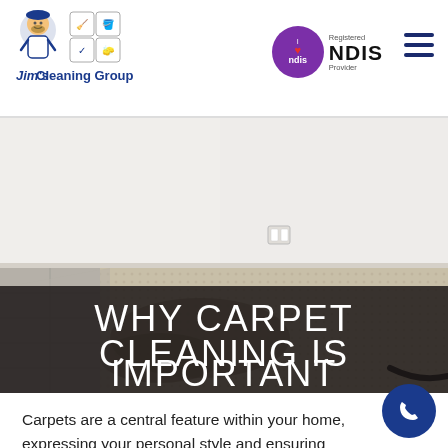Jim's Cleaning Group — NDIS Registered Provider
[Figure (photo): Photo of a carpeted room interior showing a partially cleaned/stained carpet with white walls and a power outlet visible. Overlaid text reads: WHY CARPET CLEANING IS IMPORTANT]
WHY CARPET CLEANING IS IMPORTANT
Carpets are a central feature within your home, expressing your personal style and ensuring that you're in comfortable